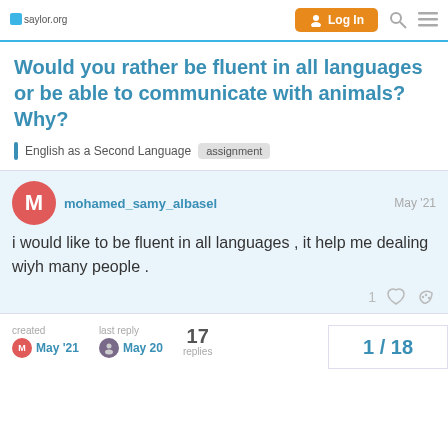saylor.org | Log In
Would you rather be fluent in all languages or be able to communicate with animals? Why?
English as a Second Language  assignment
mohamed_samy_albasel  May '21
i would like to be fluent in all languages , it help me dealing wiyh many people .
created May '21  last reply May 20  17 replies  1 / 18